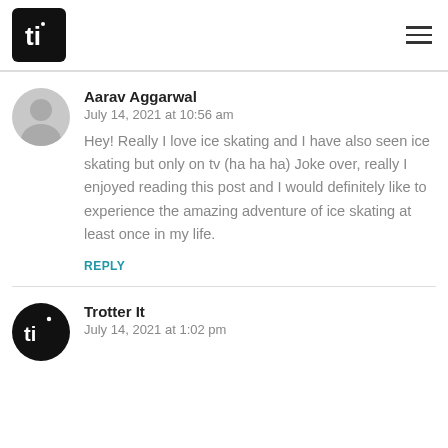Trotter It — navigation header with logo and hamburger menu
Aarav Aggarwal
July 14, 2021 at 10:56 am

Hey! Really I love ice skating and I have also seen ice skating but only on tv (ha ha ha) Joke over, really I enjoyed reading this post and I would definitely like to experience the amazing adventure of ice skating at least once in my life.

REPLY
Trotter It
July 14, 2021 at 1:02 pm